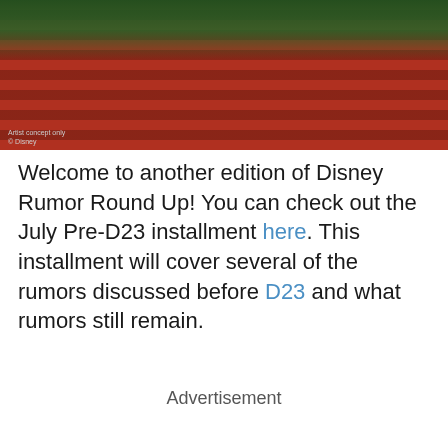[Figure (photo): Aerial concept art image of a Disney attraction or structure, showing red wooden/metal architectural elements with a green tree canopy visible above. Caption reads 'Artist concept only © Disney'.]
Welcome to another edition of Disney Rumor Round Up! You can check out the July Pre-D23 installment here. This installment will cover several of the rumors discussed before D23 and what rumors still remain.
Advertisement